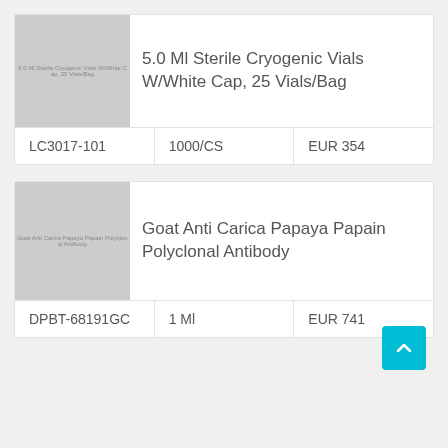[Figure (photo): Product image placeholder for 5.0 Ml Sterile Cryogenic Vials W/White Cap, 25 Vials/Bag. Gray placeholder with text overlay.]
5.0 Ml Sterile Cryogenic Vials W/White Cap, 25 Vials/Bag
| LC3017-101 | 1000/CS | EUR 354 |
[Figure (photo): Product image placeholder for Goat Anti Carica Papaya Papain Polyclonal Antibody. Gray placeholder with text overlay.]
Goat Anti Carica Papaya Papain Polyclonal Antibody
| DPBT-68191GC | 1 Ml | EUR 741 |